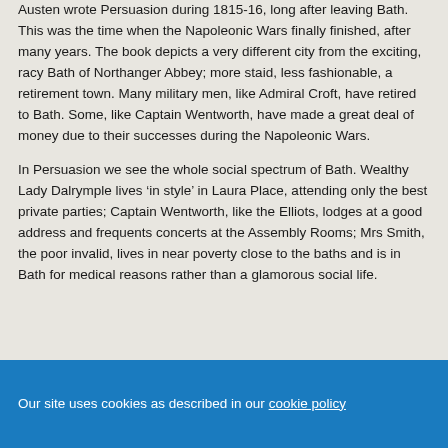Austen wrote Persuasion during 1815-16, long after leaving Bath. This was the time when the Napoleonic Wars finally finished, after many years. The book depicts a very different city from the exciting, racy Bath of Northanger Abbey; more staid, less fashionable, a retirement town. Many military men, like Admiral Croft, have retired to Bath. Some, like Captain Wentworth, have made a great deal of money due to their successes during the Napoleonic Wars.
In Persuasion we see the whole social spectrum of Bath. Wealthy Lady Dalrymple lives 'in style' in Laura Place, attending only the best private parties; Captain Wentworth, like the Elliots, lodges at a good address and frequents concerts at the Assembly Rooms; Mrs Smith, the poor invalid, lives in near poverty close to the baths and is in Bath for medical reasons rather than a glamorous social life.
Our site uses cookies as described in our cookie policy